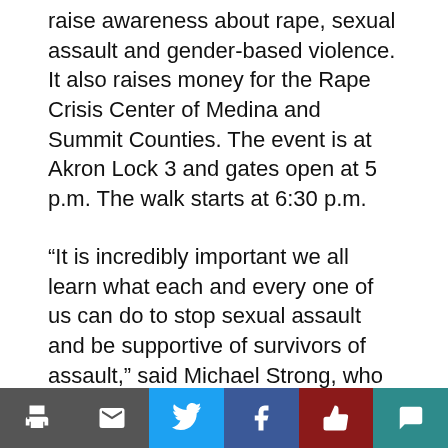raise awareness about rape, sexual assault and gender-based violence. It also raises money for the Rape Crisis Center of Medina and Summit Counties. The event is at Akron Lock 3 and gates open at 5 p.m. The walk starts at 6:30 p.m.
“It is incredibly important we all learn what each and every one of us can do to stop sexual assault and be supportive of survivors of assault,” said Michael Strong, who is part of the Sexual Assault Resource Team (SART) at The University of Akron.
According to Strong, Becky Hoover convened SART in May of 2014 and asked that it identify what the university was currently doing, what it is required to do to prevent sexual assault, and to make recommendations to implement programs and
[Figure (other): Social sharing toolbar with print, email, Twitter, Facebook, like, and comment buttons]